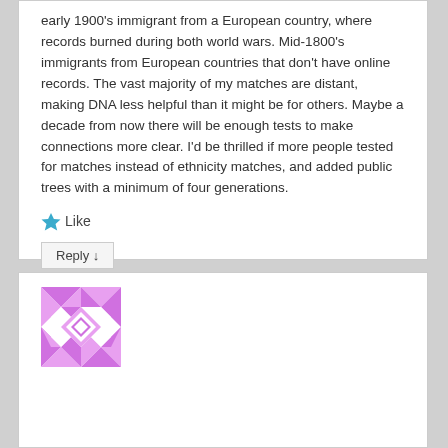early 1900's immigrant from a European country, where records burned during both world wars. Mid-1800's immigrants from European countries that don't have online records. The vast majority of my matches are distant, making DNA less helpful than it might be for others. Maybe a decade from now there will be enough tests to make connections more clear. I'd be thrilled if more people tested for matches instead of ethnicity matches, and added public trees with a minimum of four generations.
Like
Reply ↓
[Figure (illustration): Decorative avatar image with purple and white geometric quilt-like pattern on a white background square]